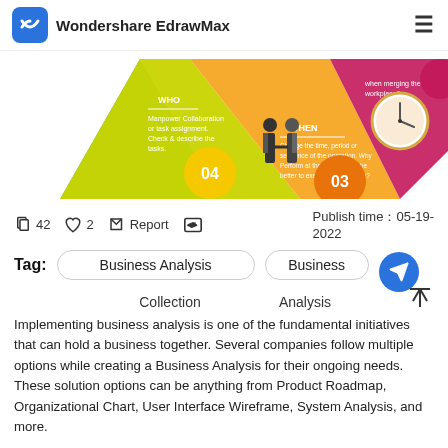Wondershare EdrawMax
[Figure (infographic): Colorful infographic showing sections labeled WHO, WHEN with numbered circles 03 and 04, businessmen shaking hands, clock graphic, and funnel-style colored segments (green, yellow-green, orange, pink/magenta).]
42   2   Report   Publish time：05-19-2022
Tag: Business Analysis   Business   Collection   Analysis
Implementing business analysis is one of the fundamental initiatives that can hold a business together. Several companies follow multiple options while creating a Business Analysis for their ongoing needs. These solution options can be anything from Product Roadmap, Organizational Chart, User Interface Wireframe, System Analysis, and more.
Here you will learn how a business system analysis focuses on the